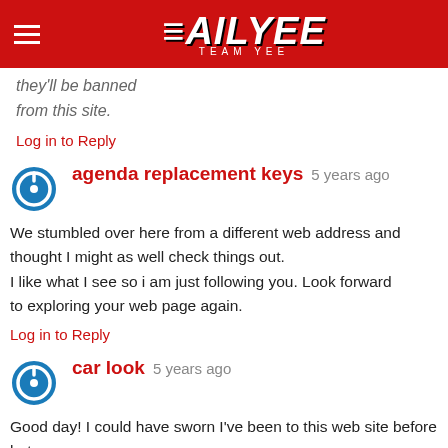DAILYEE TEAM YEE
they'll be banned from this site.
Log in to Reply
agenda replacement keys  5 years ago
We stumbled over here from a different web address and thought I might as well check things out.
I like what I see so i am just following you. Look forward
to exploring your web page again.
Log in to Reply
car look  5 years ago
Good day! I could have sworn I've been to this web site before but